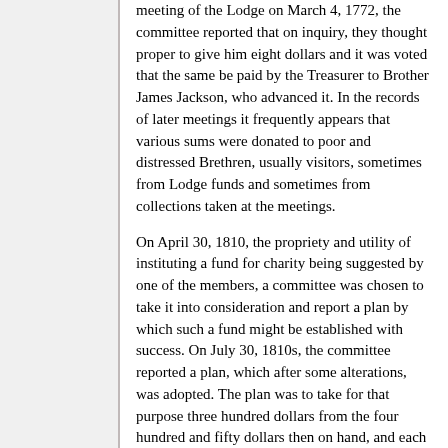meeting of the Lodge on March 4, 1772, the committee reported that on inquiry, they thought proper to give him eight dollars and it was voted that the same be paid by the Treasurer to Brother James Jackson, who advanced it. In the records of later meetings it frequently appears that various sums were donated to poor and distressed Brethren, usually visitors, sometimes from Lodge funds and sometimes from collections taken at the meetings.
On April 30, 1810, the propriety and utility of instituting a fund for charity being suggested by one of the members, a committee was chosen to take it into consideration and report a plan by which such a fund might be established with success. On July 30, 1810s, the committee reported a plan, which after some alterations, was adopted. The plan was to take for that purpose three hundred dollars from the four hundred and fifty dollars then on hand, and each member to pay into the fund one dollar, one dollar to be taken from the money received for each initiation, and each newly admitted